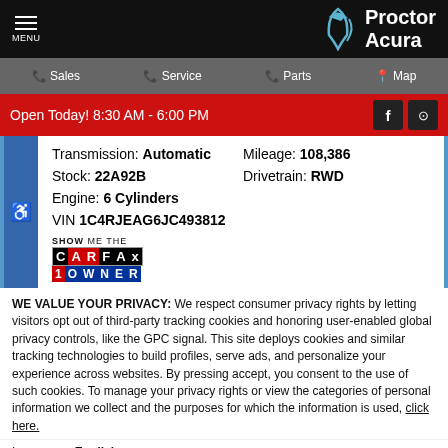MENU | Proctor Acura
Sales | Service | Parts | Map
Open Today! 8:30 AM - 6:00 PM
| Field | Value |
| --- | --- |
| Transmission: | Automatic |
| Mileage: | 108,386 |
| Stock: | 22A92B |
| Drivetrain: | RWD |
| Engine: | 6 Cylinders |
| VIN | 1C4RJEAG6JC493812 |
[Figure (logo): SHOW ME THE CARFAX 1 OWNER badge logo]
WE VALUE YOUR PRIVACY: We respect consumer privacy rights by letting visitors opt out of third-party tracking cookies and honoring user-enabled global privacy controls, like the GPC signal. This site deploys cookies and similar tracking technologies to build profiles, serve ads, and personalize your experience across websites. By pressing accept, you consent to the use of such cookies. To manage your privacy rights or view the categories of personal information we collect and the purposes for which the information is used, click here.
Language: English
Powered by ComplyAuto
Accept and Continue → | Privacy Policy | ×